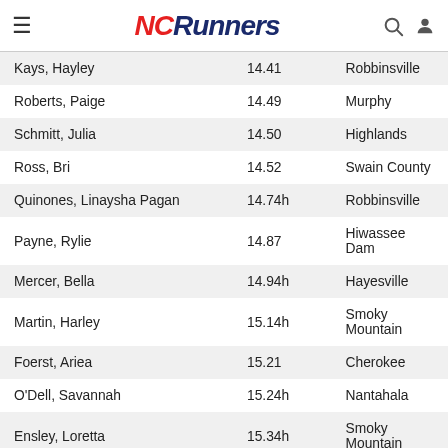NCRunners
| Kays, Hayley | 14.41 | Robbinsville |
| Roberts, Paige | 14.49 | Murphy |
| Schmitt, Julia | 14.50 | Highlands |
| Ross, Bri | 14.52 | Swain County |
| Quinones, Linaysha Pagan | 14.74h | Robbinsville |
| Payne, Rylie | 14.87 | Hiwassee Dam |
| Mercer, Bella | 14.94h | Hayesville |
| Martin, Harley | 15.14h | Smoky Mountain |
| Foerst, Ariea | 15.21 | Cherokee |
| O'Dell, Savannah | 15.24h | Nantahala |
| Ensley, Loretta | 15.34h | Smoky Mountain |
| Glenn, Morgan | 15.54 | Andrews |
| Passmore, Breanna | 15.54h | Nantahala |